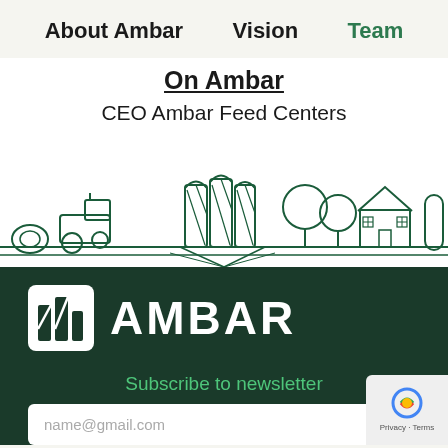About Ambar   Vision   Team
On Ambar
CEO Ambar Feed Centers
[Figure (illustration): Line illustration of a rural agricultural scene with a tractor, hay bale, grain silos, trees, a farmhouse, and road leading into the distance, drawn in dark green outline style on white background.]
[Figure (logo): Ambar logo: white square icon with stylized bar chart/building motif, followed by the word AMBAR in large white bold letters, on a dark green background.]
Subscribe to newsletter
name@gmail.com